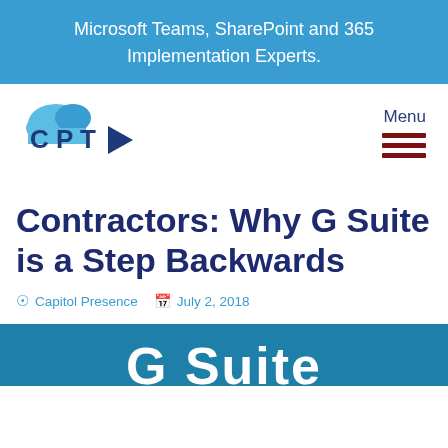Microsoft Teams, SharePoint and 365 Implementation Experts.
[Figure (logo): CPT logo - cloud graphic with letters CPT in blue tones]
Menu
Contractors: Why G Suite is a Step Backwards
Capitol Presence   July 2, 2018
[Figure (photo): Blue banner with partial text 'G Suite' in white large letters]